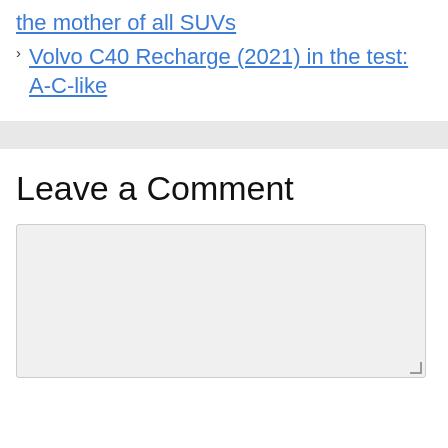the mother of all SUVs
Volvo C40 Recharge (2021) in the test: A-C-like
Leave a Comment